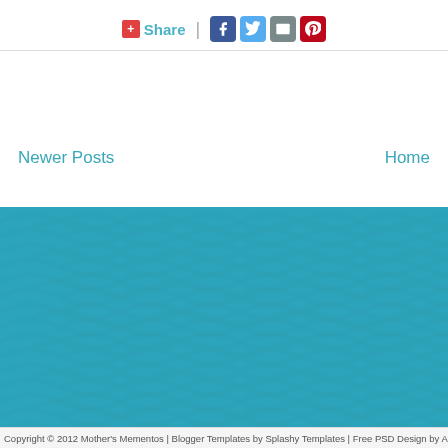[Figure (infographic): Social share bar with +Share button, vertical divider, and Facebook, Twitter, Email, and Pinterest icons]
Newer Posts
Home
[Figure (illustration): Teal/turquoise wave-textured background filling the lower portion of the page]
Copyright © 2012 Mother's Mementos | Blogger Templates by Splashy Templates | Free PSD Design by Amuki